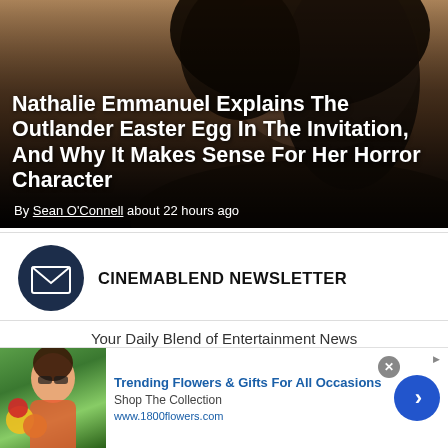[Figure (photo): Hero image of Nathalie Emmanuel with dark curly hair against a blurred background, with semi-transparent dark overlay]
Nathalie Emmanuel Explains The Outlander Easter Egg In The Invitation, And Why It Makes Sense For Her Horror Character
By Sean O'Connell about 22 hours ago
CINEMABLEND NEWSLETTER
Your Daily Blend of Entertainment News
[Figure (infographic): Advertisement banner for 1800flowers.com showing a woman with flowers. Title: Trending Flowers & Gifts For All Occasions. Subtitle: Shop The Collection. URL: www.1800flowers.com]